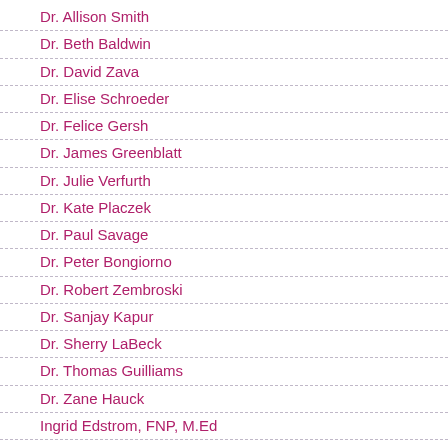Dr. Allison Smith
Dr. Beth Baldwin
Dr. David Zava
Dr. Elise Schroeder
Dr. Felice Gersh
Dr. James Greenblatt
Dr. Julie Verfurth
Dr. Kate Placzek
Dr. Paul Savage
Dr. Peter Bongiorno
Dr. Robert Zembroski
Dr. Sanjay Kapur
Dr. Sherry LaBeck
Dr. Thomas Guilliams
Dr. Zane Hauck
Ingrid Edstrom, FNP, M.Ed